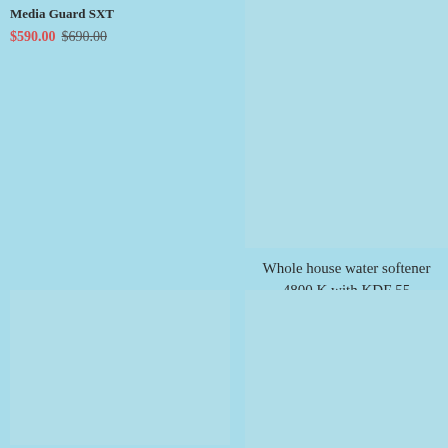Media Guard SXT
$590.00 $690.00
[Figure (photo): Product image placeholder - top right, light blue background]
Whole house water softener 4800 K with KDF 55 MediaGuard - Fleck 5600 SXT Digital Valve $630.00
[Figure (photo): Product image placeholder - bottom left, light blue background]
[Figure (photo): Product image placeholder - bottom right, light blue background]